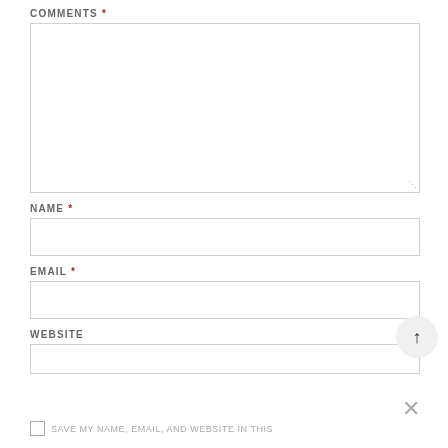COMMENTS *
[Figure (other): Empty textarea form field for comments with resize handle]
NAME *
[Figure (other): Empty single-line input field for name]
EMAIL *
[Figure (other): Empty single-line input field for email]
WEBSITE
[Figure (other): Empty single-line input field for website, partially visible]
[Figure (other): Back to top arrow button (circular, gray background)]
[Figure (other): Close X button in gray]
SAVE MY NAME, EMAIL, AND WEBSITE IN THIS